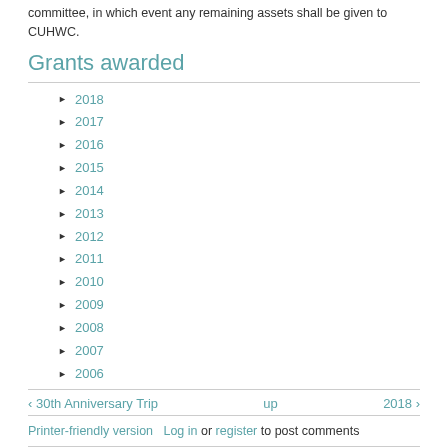committee, in which event any remaining assets shall be given to CUHWC.
Grants awarded
2018
2017
2016
2015
2014
2013
2012
2011
2010
2009
2008
2007
2006
‹ 30th Anniversary Trip   up   2018 ›
Printer-friendly version   Log in or register to post comments